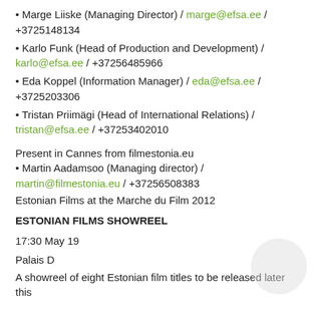Marge Liiske (Managing Director) / marge@efsa.ee / +3725148134
Karlo Funk (Head of Production and Development) / karlo@efsa.ee / +37256485966
Eda Koppel (Information Manager) / eda@efsa.ee / +3725203306
Tristan Priimägi (Head of International Relations) / tristan@efsa.ee / +37253402010
Present in Cannes from filmestonia.eu
Martin Aadamsoo (Managing director) / martin@filmestonia.eu / +37256508383
Estonian Films at the Marche du Film 2012
ESTONIAN FILMS SHOWREEL
17:30 May 19
Palais D
A showreel of eight Estonian film titles to be released later this